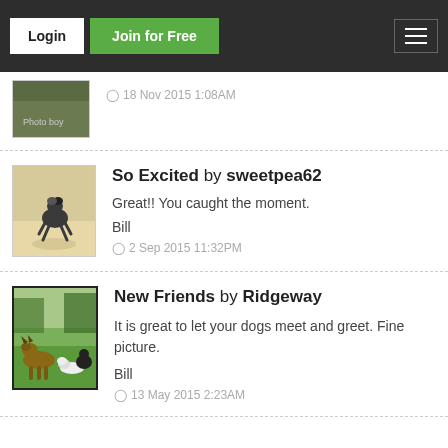Login | Join for Free
[Figure (photo): Partial thumbnail of a photo, partially cut off at top, showing grass/ground]
18 Nov 2015 1:08AM
[Figure (photo): Dog jumping on a beach]
So Excited by sweetpea62
Great!! You caught the moment.
Bill
2 Sep 2015 11:32PM
[Figure (photo): Two dogs on grass, green field with trees in background]
New Friends by Ridgeway
It is great to let your dogs meet and greet. Fine picture.
Bill
13 May 2015 2:23AM